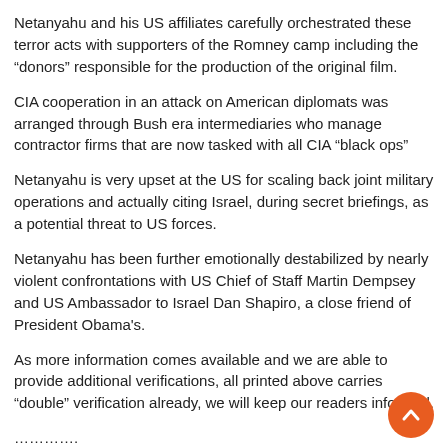Netanyahu and his US affiliates carefully orchestrated these terror acts with supporters of the Romney camp including the “donors” responsible for the production of the original film.
CIA cooperation in an attack on American diplomats was arranged through Bush era intermediaries who manage contractor firms that are now tasked with all CIA “black ops”
Netanyahu is very upset at the US for scaling back joint military operations and actually citing Israel, during secret briefings, as a potential threat to US forces.
Netanyahu has been further emotionally destabilized by nearly violent confrontations with US Chief of Staff Martin Dempsey and US Ambassador to Israel Dan Shapiro, a close friend of President Obama's.
As more information comes available and we are able to provide additional verifications, all printed above carries “double” verification already, we will keep our readers informed.
………….
http://www.dailykos.com/story/2012/05/26/1095014/-Bain-Capital-and-Mitt-Romney-s-Best-Kept-Secret